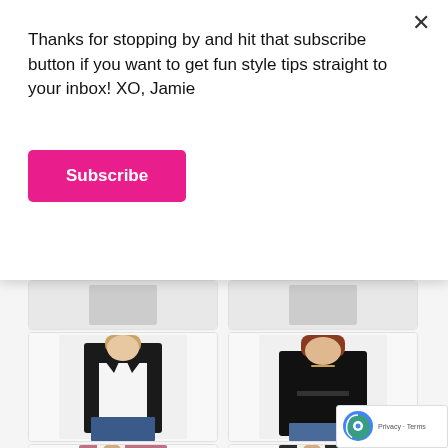Thanks for stopping by and hit that subscribe button if you want to get fun style tips straight to your inbox! XO, Jamie
Subscribe
[Figure (photo): Woman wearing a black blazer with white shirt and jeans]
[Figure (photo): Woman wearing a black belted cardigan/coat with jeans]
[Figure (photo): Woman in pink/mauve blazer, partially visible]
[Figure (photo): Woman in dark blazer, neckline view, partially visible]